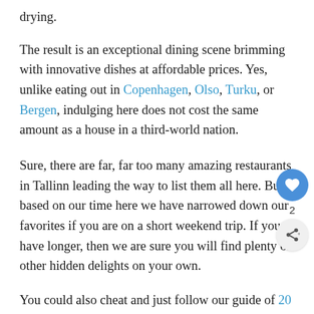drying.
The result is an exceptional dining scene brimming with innovative dishes at affordable prices. Yes, unlike eating out in Copenhagen, Olso, Turku, or Bergen, indulging here does not cost the same amount as a house in a third-world nation.
Sure, there are far, far too many amazing restaurants in Tallinn leading the way to list them all here. But based on our time here we have narrowed down our favorites if you are on a short weekend trip. If you have longer, then we are sure you will find plenty of other hidden delights on your own.
You could also cheat and just follow our guide of 20